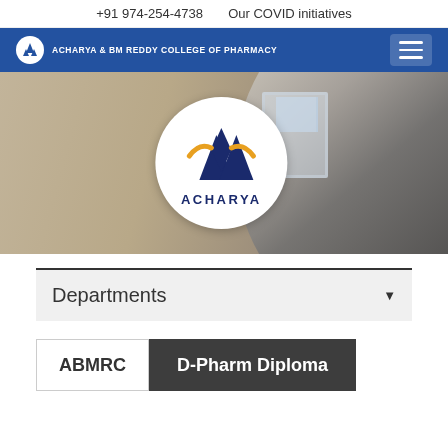+91 974-254-4738   Our COVID initiatives
[Figure (screenshot): Acharya & BM Reddy College of Pharmacy navigation bar with logo and hamburger menu on blue background]
[Figure (logo): Acharya logo in white circle on hero banner background showing a scientist with microscope]
Departments
ABMRC
D-Pharm Diploma